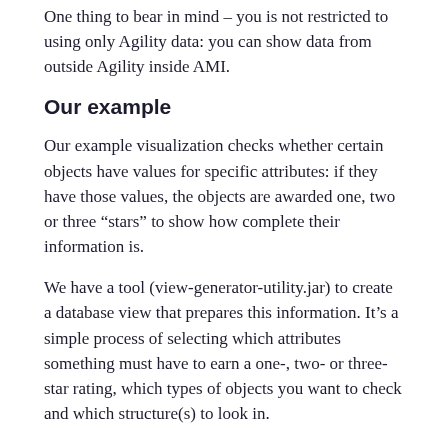One thing to bear in mind – you is not restricted to using only Agility data: you can show data from outside Agility inside AMI.
Our example
Our example visualization checks whether certain objects have values for specific attributes: if they have those values, the objects are awarded one, two or three “stars” to show how complete their information is.
We have a tool (view-generator-utility.jar) to create a database view that prepares this information. It’s a simple process of selecting which attributes something must have to earn a one-, two- or three-star rating, which types of objects you want to check and which structure(s) to look in.
Then just run the tool to create the view.